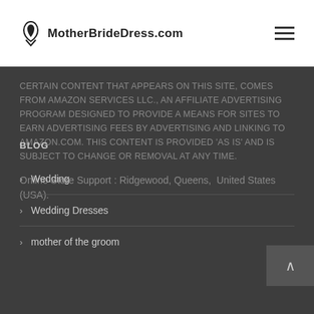MotherBrideDress.com
CERTAIN CONTENT THAT APPEARS ON THIS SITE, COMES FROM AMAZON SERVICES LLC., AN AFFILIATE ADVERTISING PROGRAM DESIGNED TO PROVIDE A MEANS FOR SITES TO EARN ADVERTISING FEES BY ADVERTISING AND LINKING TO AMAZON.COM. THIS CONTENT IS PROVIDED 'AS IS' AND IS SUBJECT TO CHANGE OR REMOVAL AT ANY TIME.
Online Store Support : Ridgewood, Queens,  United States (USA).
BLOG
Wedding
Wedding Dresses
mother of the groom